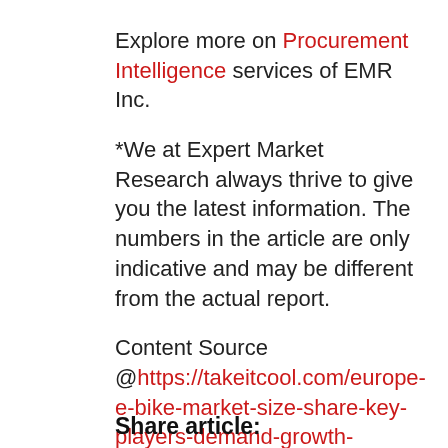Explore more on Procurement Intelligence services of EMR Inc.
*We at Expert Market Research always thrive to give you the latest information. The numbers in the article are only indicative and may be different from the actual report.
Content Source @https://takeitcool.com/europe-e-bike-market-size-share-key-players-demand-growth-analysis-research-report/
Share article: